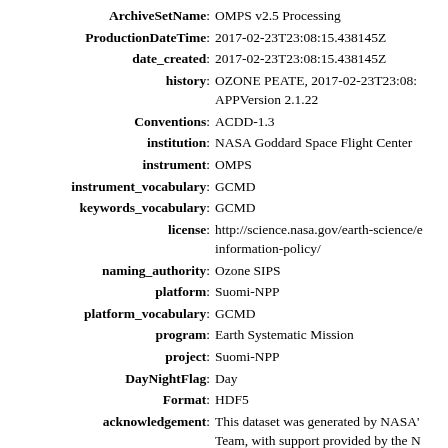ArchiveSetName: OMPS v2.5 Processing
ProductionDateTime: 2017-02-23T23:08:15.438145Z
date_created: 2017-02-23T23:08:15.438145Z
history: OZONE PEATE, 2017-02-23T23:08: APPVersion 2.1.22
Conventions: ACDD-1.3
institution: NASA Goddard Space Flight Center
instrument: OMPS
instrument_vocabulary: GCMD
keywords_vocabulary: GCMD
license: http://science.nasa.gov/earth-science/e information-policy/
naming_authority: Ozone SIPS
platform: Suomi-NPP
platform_vocabulary: GCMD
program: Earth Systematic Mission
project: Suomi-NPP
DayNightFlag: Day
Format: HDF5
acknowledgement: This dataset was generated by NASA' Team, with support provided by the N